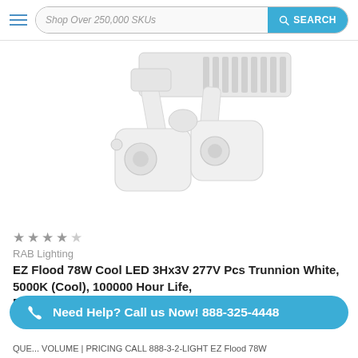Shop Over 250,000 SKUs | SEARCH
[Figure (photo): White LED flood light fixture with dual adjustable heads on a trunnion mount, product photo on white background]
★★★★★
RAB Lighting
EZ Flood 78W Cool LED 3Hx3V 277V Pcs Trunnion White, 5000K (Cool), 100000 Hour Life, EZI...
Need Help? Call us Now! 888-325-4448
VOLUME | PRICING CALL 888-3-2-LIGHT EZ Flood 78W